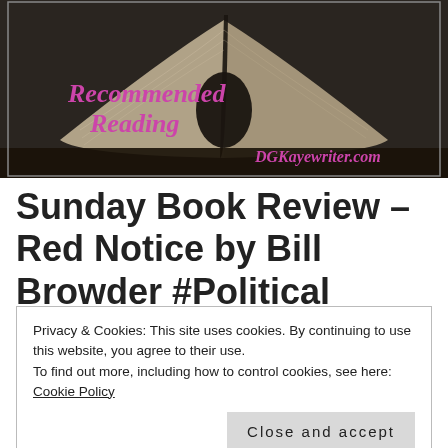[Figure (photo): Open book photographed from above against dark background, with text overlay 'Recommended Reading' in pink script font and 'DGKayewriter.com' in pink script at bottom right]
Sunday Book Review – Red Notice by Bill Browder #Political #Thriller
Privacy & Cookies: This site uses cookies. By continuing to use this website, you agree to their use.
To find out more, including how to control cookies, see here: Cookie Policy
Close and accept